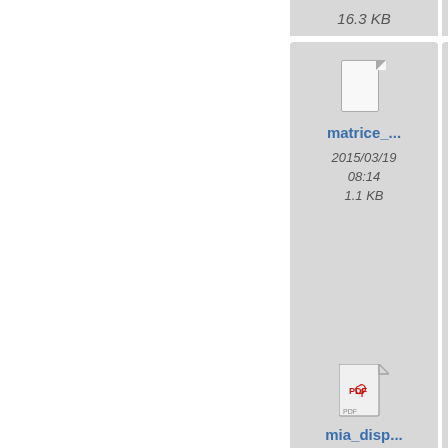16.3 KB
2.8 KB
[Figure (screenshot): File browser grid showing file thumbnails with names, dates, and sizes. Row 1 partial: 16.3 KB, 2.8 KB. Row 2: matrice_... (blank icon, 2015/03/19 08:14, 1.1 KB), matrice_... (engineering diagram thumbnail 391×257, 2015/05/29 01:00, 14 KB), mo... (partial). Row 3: mia_disp... (PDF icon, 2015/05/21 13:29, 168 KB), mod1_20... (blank icon, 2015/05/13 11:15, 652.9 KB), mo... (partial).]